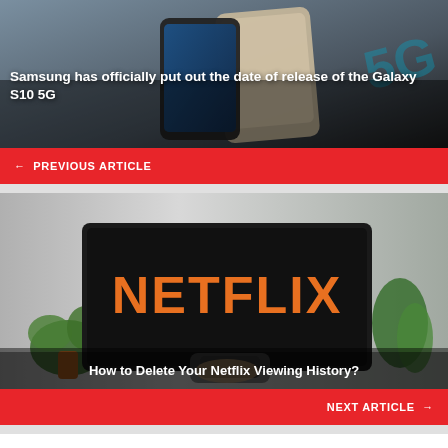[Figure (photo): Samsung Galaxy S10 5G smartphone promotional image with phones on dark background]
Samsung has officially put out the date of release of the Galaxy S10 5G
← PREVIOUS ARTICLE
[Figure (photo): Netflix logo displayed on a TV screen with a remote control and plants in background]
How to Delete Your Netflix Viewing History?
NEXT ARTICLE →
YOU MAY ALSO LIKE